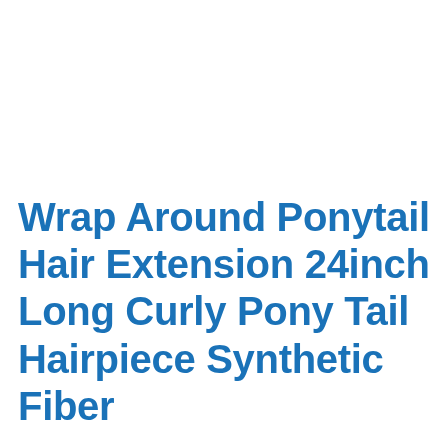Wrap Around Ponytail Hair Extension 24inch Long Curly Pony Tail Hairpiece Synthetic Fiber